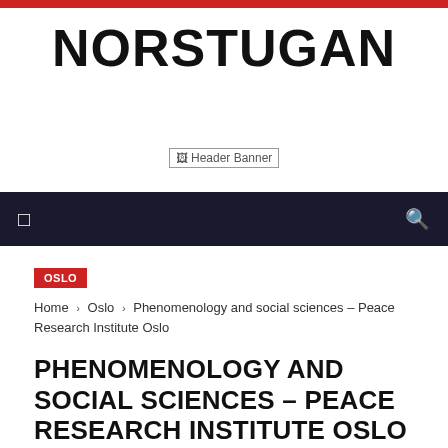NORSTUGAN
[Figure (other): Header Banner placeholder image]
OSLO
Home › Oslo › Phenomenology and social sciences – Peace Research Institute Oslo
PHENOMENOLOGY AND SOCIAL SCIENCES – PEACE RESEARCH INSTITUTE OSLO